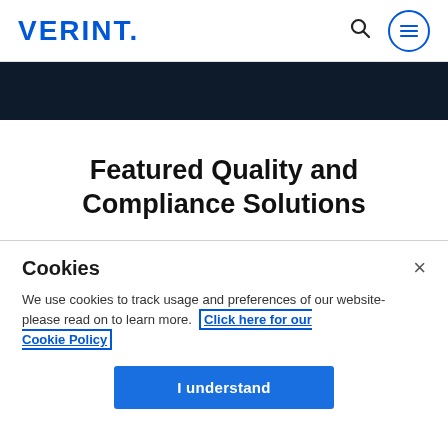VERINT.
[Figure (other): Dark navy banner strip across the top of the page content area]
Featured Quality and Compliance Solutions
Cookies
We use cookies to track usage and preferences of our website- please read on to learn more. Click here for our Cookie Policy
I understand